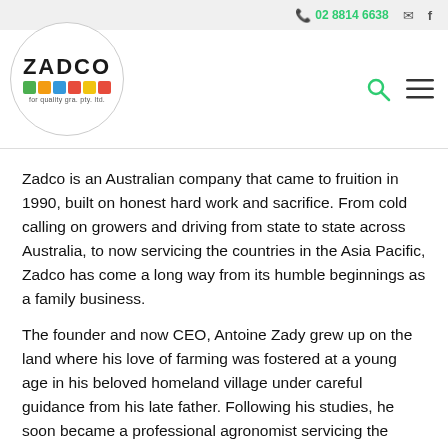02 8814 6638
[Figure (logo): ZADCO circular logo with colored blocks and tagline 'for quality gra. pty. ltd.']
Zadco is an Australian company that came to fruition in 1990, built on honest hard work and sacrifice. From cold calling on growers and driving from state to state across Australia, to now servicing the countries in the Asia Pacific, Zadco has come a long way from its humble beginnings as a family business.
The founder and now CEO, Antoine Zady grew up on the land where his love of farming was fostered at a young age in his beloved homeland village under careful guidance from his late father. Following his studies, he soon became a professional agronomist servicing the Middle Eastern